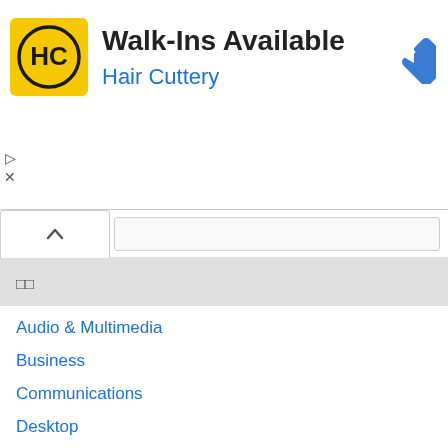[Figure (advertisement): Hair Cuttery advertisement banner with yellow/black HC logo, text 'Walk-Ins Available' and 'Hair Cuttery' in blue, blue diamond navigation icon, with play and close controls]
Audio & Multimedia
Business
Communications
Desktop
Development
Education
Games & Entertainment
Graphics Applications
Home & Hobby
Internet
Security
Servers
System Utilities
Web Development